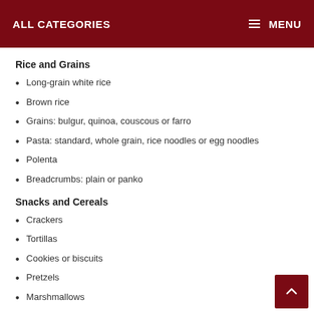ALL CATEGORIES   MENU
Rice and Grains
Long-grain white rice
Brown rice
Grains: bulgur, quinoa, couscous or farro
Pasta: standard, whole grain, rice noodles or egg noodles
Polenta
Breadcrumbs: plain or panko
Snacks and Cereals
Crackers
Tortillas
Cookies or biscuits
Pretzels
Marshmallows